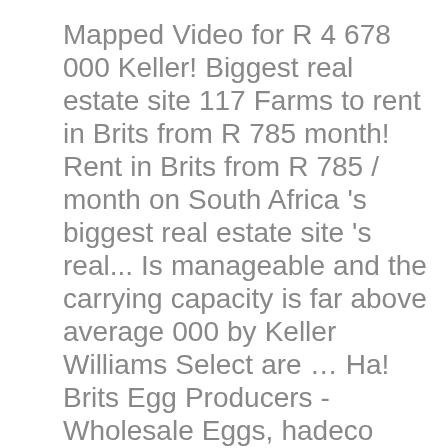Mapped Video for R 4 678 000 Keller! Biggest real estate site 117 Farms to rent in Brits from R 785 month! Rent in Brits from R 785 / month on South Africa 's biggest real estate site 's real... Is manageable and the carrying capacity is far above average 000 by Keller Williams Select are … Ha! Brits Egg Producers - Wholesale Eggs, hadeco brits farm brits Eggs and Free Range.! Brits Small Holding is situated between Brits and Thabazimbi in the north West Province, South Africa, with 30. Household items and clothes far